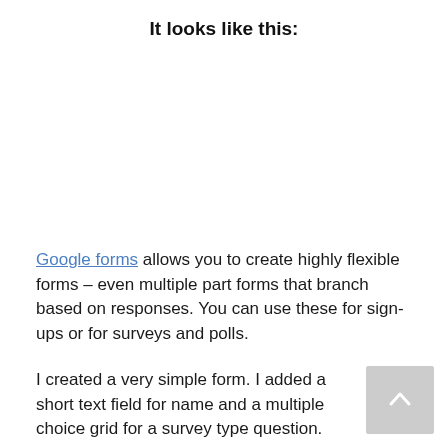It looks like this:
Google forms allows you to create highly flexible forms – even multiple part forms that branch based on responses. You can use these for sign-ups or for surveys and polls.
I created a very simple form. I added a short text field for name and a multiple choice grid for a survey type question.